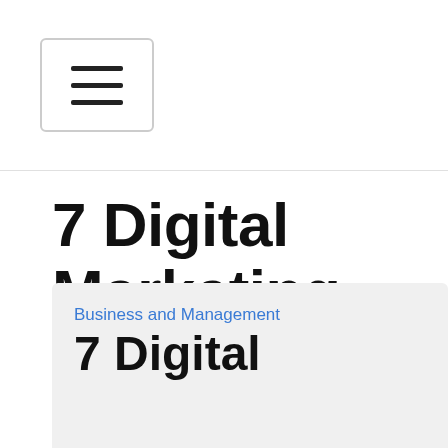[Figure (screenshot): Navigation menu button with three horizontal lines (hamburger icon) inside a rounded rectangle border]
7 Digital Marketing Books You Should Read
[Figure (illustration): Social media share buttons: Facebook (blue circle with f), Google+ (red circle with g+), Twitter (blue circle with bird), Plus/More (dark circle with +)]
Business and Management
7 Digital